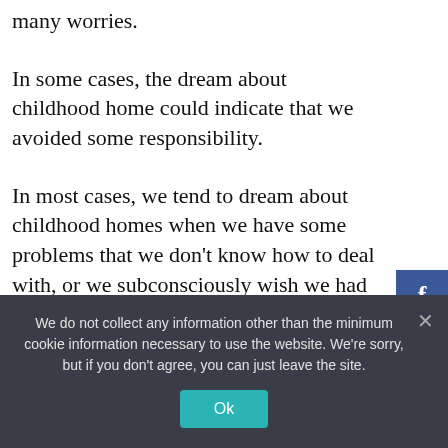many worries.
In some cases, the dream about childhood home could indicate that we avoided some responsibility.
In most cases, we tend to dream about childhood homes when we have some problems that we don't know how to deal with, or we subconsciously wish we had the support we had in those days.
In general, we tend to dream about our
We do not collect any information other than the minimum cookie information necessary to use the website. We're sorry, but if you don't agree, you can just leave the site.